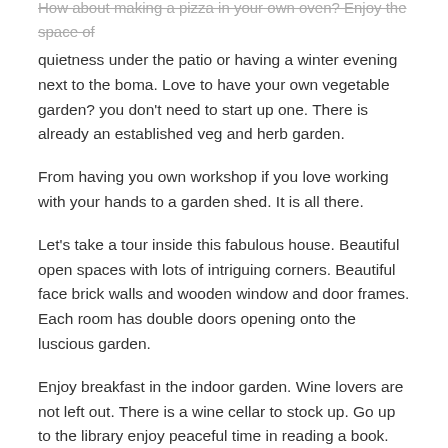quietness under the patio or having a winter evening next to the boma. Love to have your own vegetable garden? you don't need to start up one. There is already an established veg and herb garden.
From having you own workshop if you love working with your hands to a garden shed. It is all there.
Let's take a tour inside this fabulous house. Beautiful open spaces with lots of intriguing corners. Beautiful face brick walls and wooden window and door frames. Each room has double doors opening onto the luscious garden.
Enjoy breakfast in the indoor garden. Wine lovers are not left out. There is a wine cellar to stock up. Go up to the library enjoy peaceful time in reading a book.
A beautiful modern kitchen with a gas and electric stove and eye level oven awaits the lady of the house.